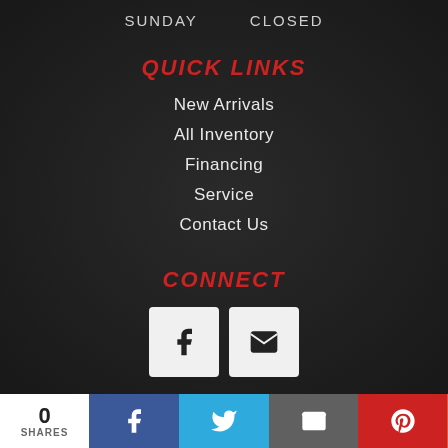SUNDAY   CLOSED
QUICK LINKS
New Arrivals
All Inventory
Financing
Service
Contact Us
CONNECT
[Figure (logo): Social icons: Facebook and Email buttons]
[Figure (logo): TrailerCentral.com logo with arrow icon]
Trailer Dealer Website by Trailer Central
0 SHARES | Facebook | Twitter | Email | Pinterest | More